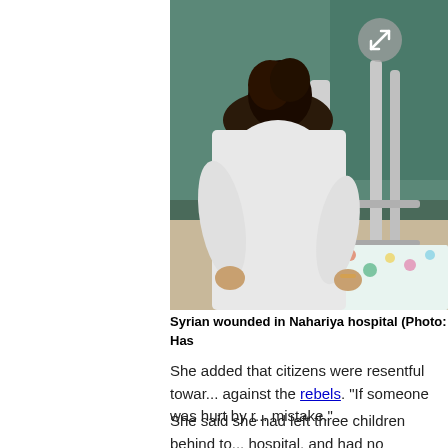[Figure (photo): A nurse or caregiver in a white shirt leaning over a patient in a hospital bed with a colorful floral blanket, in a hospital room with teal curtains and medical equipment.]
Syrian wounded in Nahariya hospital (Photo: Has...
She added that citizens were resentful toward... against the rebels. "If someone was hurt by r... mistake."
She said she had left three children behind to... hospital, and had no knowledge of their wellb...